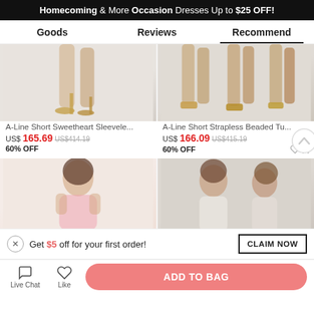Homecoming & More Occasion Dresses Up to $25 OFF!
Goods | Reviews | Recommend
[Figure (photo): Product photo showing legs with heeled sandals - A-Line Short Sweetheart Sleevele...]
[Figure (photo): Product photo showing legs with platform heeled sandals - A-Line Short Strapless Beaded Tu...]
A-Line Short Sweetheart Sleevele...
US$165.69  US$414.19  60% OFF
A-Line Short Strapless Beaded Tu...
US$166.09  US$415.19  60% OFF
[Figure (photo): Product photo of woman in pink dress]
[Figure (photo): Product photo of two women in light-colored dresses]
Get $5 off for your first order!
CLAIM NOW
Live Chat  Like  ADD TO BAG